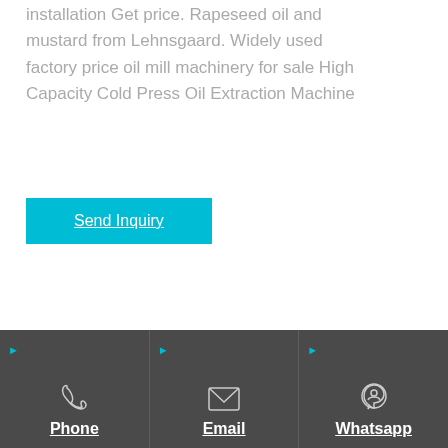installation Get price. Rapeseed oil and mustard from Lehnsgaard. Widely used factory price oil mill machinery for sale High Capacity Cold Press Oil Extraction Machine
Send Inquiry
Phone
Email
Whatsapp